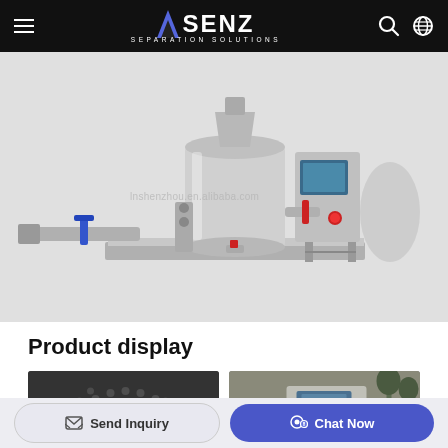SENZ SEPARATION SOLUTIONS
[Figure (photo): Industrial separation machine — stainless steel drum/tank with piping, valves, blue-handled valve on left extending pipe, digital touchscreen control panel on right, red emergency stop button, mounted on a metal base platform. Watermark text: lnshenzhou.en.alibaba.com]
Product display
[Figure (photo): Close-up view of the perforated inner drum/basket of the centrifuge separator showing circular perforations pattern (dark, metallic)]
[Figure (photo): Side view of the machine in an outdoor/industrial setting showing the touchscreen control panel with red emergency stop button]
Send Inquiry
Chat Now